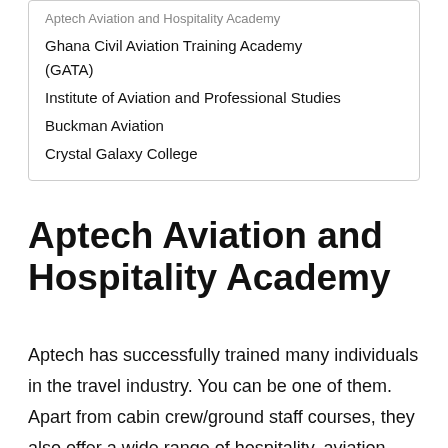Ghana Civil Aviation Training Academy (GATA)
Institute of Aviation and Professional Studies
Buckman Aviation
Crystal Galaxy College
Aptech Aviation and Hospitality Academy
Aptech has successfully trained many individuals in the travel industry. You can be one of them. Apart from cabin crew/ground staff courses, they also offer a wide range of hospitality, aviation management, and carver